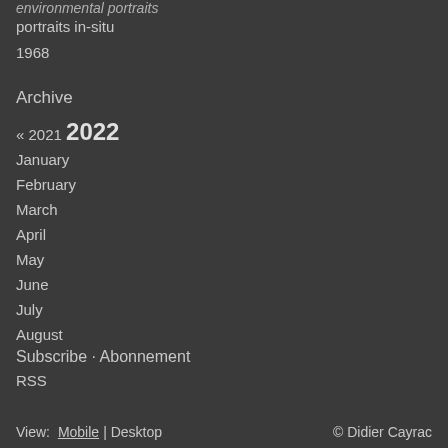environmental portraits
portraits in-situ
1968
Archive
« 2021 2022
January
February
March
April
May
June
July
August
Subscribe · Abonnement
RSS
View: Mobile | Desktop © Didier Cayrac